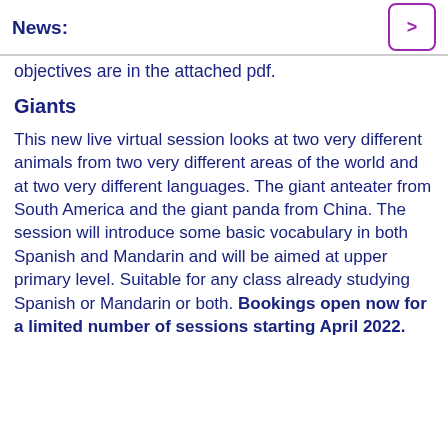News:
objectives are in the attached pdf.
Giants
This new live virtual session looks at two very different animals from two very different areas of the world and at two very different languages. The giant anteater from South America and the giant panda from China. The session will introduce some basic vocabulary in both Spanish and Mandarin and will be aimed at upper primary level. Suitable for any class already studying Spanish or Mandarin or both. Bookings open now for a limited number of sessions starting April 2022.